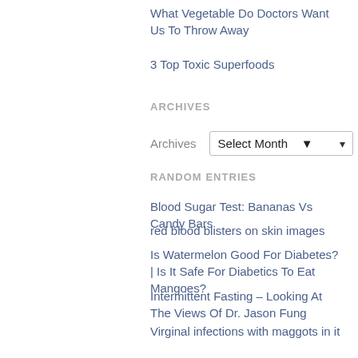What Vegetable Do Doctors Want Us To Throw Away
3 Top Toxic Superfoods
ARCHIVES
Archives   Select Month
RANDOM ENTRIES
Blood Sugar Test: Bananas Vs Candy Bars
red blood blisters on skin images
Is Watermelon Good For Diabetes? | Is It Safe For Diabetics To Eat Mangoes?
Intermittent Fasting – Looking At The Views Of Dr. Jason Fung
Virginal infections with maggots in it
Diabetic Diet For Non-vegetarians
glucose conversion table